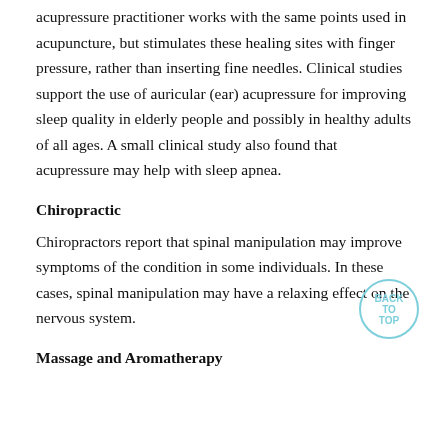acupressure practitioner works with the same points used in acupuncture, but stimulates these healing sites with finger pressure, rather than inserting fine needles. Clinical studies support the use of auricular (ear) acupressure for improving sleep quality in elderly people and possibly in healthy adults of all ages. A small clinical study also found that acupressure may help with sleep apnea.
Chiropractic
Chiropractors report that spinal manipulation may improve symptoms of the condition in some individuals. In these cases, spinal manipulation may have a relaxing effect on the nervous system.
Massage and Aromatherapy